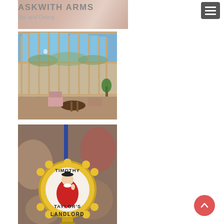ASKWITH ARMS
Bar and Dining
[Figure (photo): Interior of a conservatory dining area with large windows overlooking countryside hills, wooden furniture and tables]
[Figure (photo): Close-up of a Timothy Taylor's Landlord beer tap pump badge in a pub bar setting]